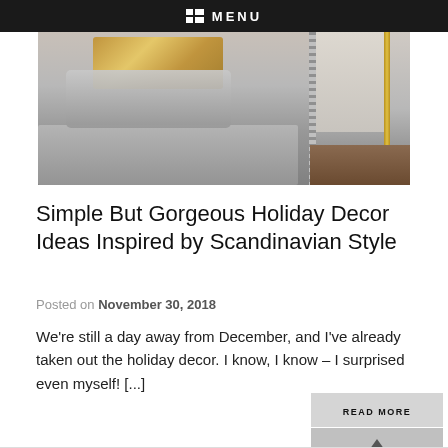MENU
[Figure (photo): Close-up photo of a sofa with decorative pillows including a gold metallic pillow and a grey fur pillow, with a studded grey sofa arm and a gold floor lamp visible on the right side.]
Simple But Gorgeous Holiday Decor Ideas Inspired by Scandinavian Style
Posted on November 30, 2018
We're still a day away from December, and I've already taken out the holiday decor. I know, I know – I surprised even myself! [...]
READ MORE